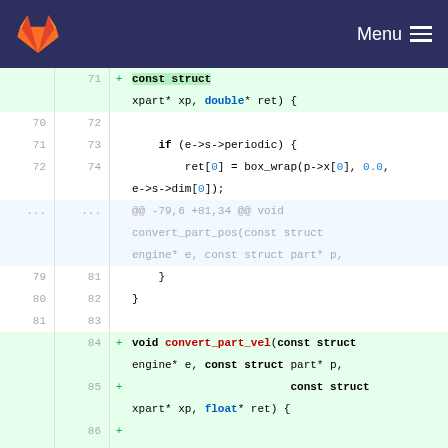[Figure (screenshot): GitLab navigation header bar with orange fox logo on left and Menu hamburger icon on right, dark navy background]
Code diff view showing additions to a C source file. Lines 71-88 shown with old/new line numbers. Added lines include: const struct (highlighted), xpart* xp, double* ret) {, if (e->s->periodic) {, ret[0] = box_wrap(p->x[0], 0.0, e->s->dim[0]);, hunk header @@ -79,6 +81,34 @@ void convert_part_pos(const struct engine* e, const struct part* p,, }, }, (blank), + void convert_part_vel(const struct engine* e, const struct part* p,, + const struct xpart* xp, float* ret) {, + (blank), + const int with_cosmology = (e->policy & engine_policy_cosmology);, + const struct cosmology* cosmo = e-